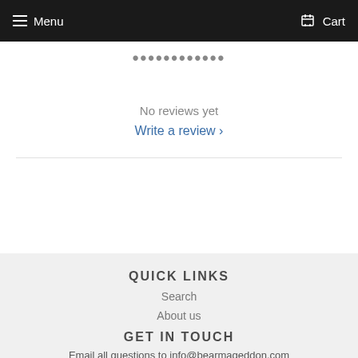Menu | Cart
Customer Reviews
No reviews yet
Write a review ›
QUICK LINKS
Search
About us
GET IN TOUCH
Email all questions to info@bearmageddon.com